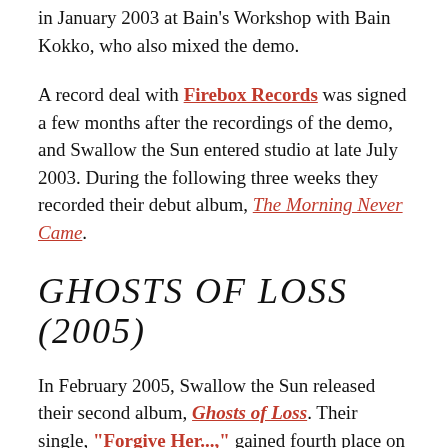in January 2003 at Bain's Workshop with Bain Kokko, who also mixed the demo.
A record deal with Firebox Records was signed a few months after the recordings of the demo, and Swallow the Sun entered studio at late July 2003. During the following three weeks they recorded their debut album, The Morning Never Came.
GHOSTS OF LOSS (2005)
In February 2005, Swallow the Sun released their second album, Ghosts of Loss. Their single, "Forgive Her...," gained fourth place on the Finnish Top 20 singles chart in its first week of release, and stayed on the charts for six weeks. Their album entered the charts as well: No. 8 in between Gwen Stefani and System of a Down. Some of the album's songs have connections to the TV show Twin Peaks.